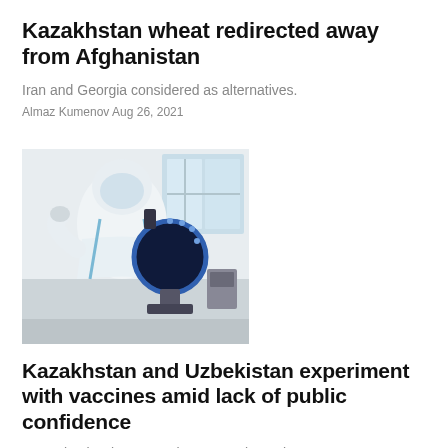Kazakhstan wheat redirected away from Afghanistan
Iran and Georgia considered as alternatives.
Almaz Kumenov Aug 26, 2021
[Figure (photo): A person in white protective PPE suit and face shield operating a microscope in a laboratory setting]
Kazakhstan and Uzbekistan experiment with vaccines amid lack of public confidence
Central Asia's largest nations are using unique